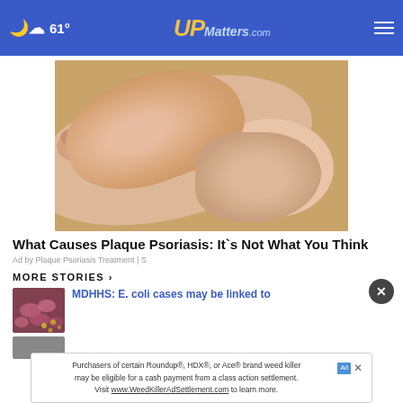61° UPMatters.com
[Figure (photo): Close-up photo of a human foot/heel showing dry, cracked, scaly skin characteristic of plaque psoriasis, against a tan/beige background]
What Causes Plaque Psoriasis: It`s Not What You Think
Ad by Plaque Psoriasis Treatment | S
MORE STORIES ›
[Figure (photo): Small thumbnail image showing bacteria/E.coli microscopy image in pink tones alongside a field of yellow flowers]
MDHHS: E. coli cases may be linked to
[Figure (photo): Small thumbnail image partially visible at bottom]
Purchasers of certain Roundup®, HDX®, or Ace® brand weed killer may be eligible for a cash payment from a class action settlement. Visit www.WeedKillerAdSettlement.com to learn more.